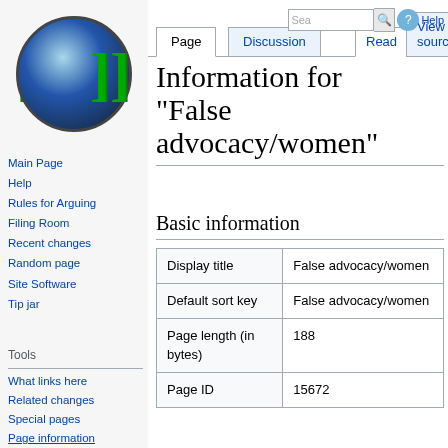Log in
[Figure (logo): Wikipedia-like wiki logo: globe with double square brackets on left and right sides]
Main Page
Help
Rules for Arguing
Filing Room
Recent changes
Random page
Site Software
Tip jar
Tools
What links here
Related changes
Special pages
Page information
Information for "False advocacy/women"
Basic information
|  |  |
| --- | --- |
| Display title | False advocacy/women |
| Default sort key | False advocacy/women |
| Page length (in bytes) | 188 |
| Page ID | 15672 |